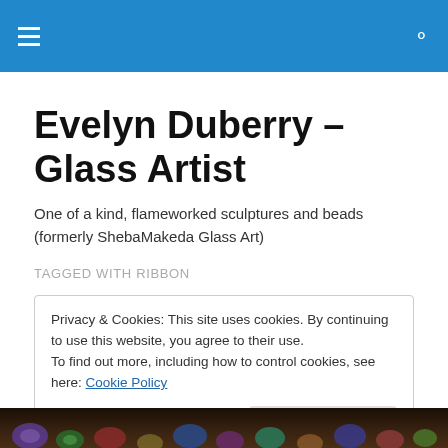Evelyn Duberry – Glass Artist
One of a kind, flameworked sculptures and beads (formerly ShebaMakeda Glass Art)
TAGGED WITH RIBBON
Privacy & Cookies: This site uses cookies. By continuing to use this website, you agree to their use.
To find out more, including how to control cookies, see here: Cookie Policy
[Figure (photo): Close-up photograph of colorful glass beads at the bottom of the page]